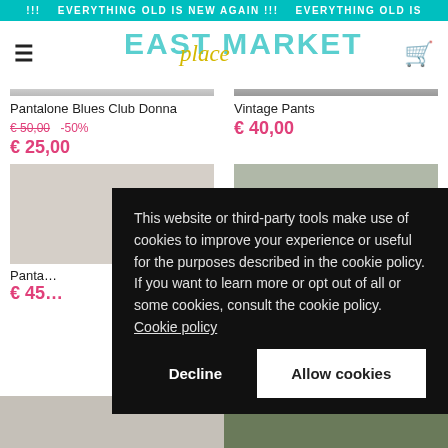!!! EVERYTHING OLD IS NEW AGAIN !!! EVERYTHING OLD IS
[Figure (logo): East Place Market logo with teal block letters and yellow cursive 'place' overlay]
Pantalone Blues Club Donna
€ 50,00  -50%
€ 25,00
Vintage Pants
€ 40,00
Panta...
€ 45...
This website or third-party tools make use of cookies to improve your experience or useful for the purposes described in the cookie policy. If you want to learn more or opt out of all or some cookies, consult the cookie policy.  Cookie policy
Decline
Allow cookies